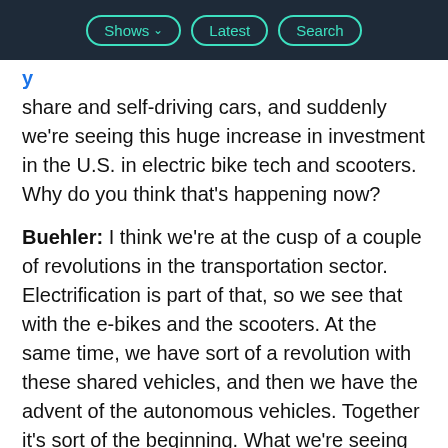Shows | Latest | Search
share and self-driving cars, and suddenly we’re seeing this huge increase in investment in the U.S. in electric bike tech and scooters. Why do you think that’s happening now?
Buehler: I think we’re at the cusp of a couple of revolutions in the transportation sector. Electrification is part of that, so we see that with the e-bikes and the scooters. At the same time, we have sort of a revolution with these shared vehicles, and then we have the advent of the autonomous vehicles. Together it’s sort of the beginning. What we’re seeing now, this will evolve further and maybe all become one big mobility we purchase depending on the trip we want to take.